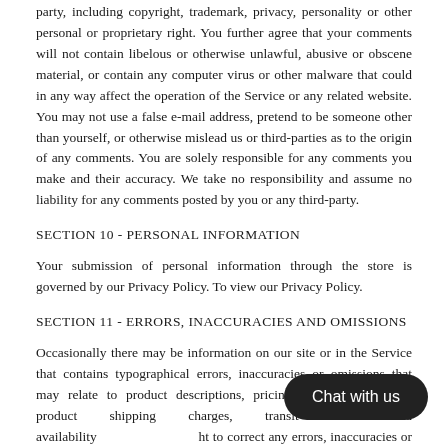party, including copyright, trademark, privacy, personality or other personal or proprietary right. You further agree that your comments will not contain libelous or otherwise unlawful, abusive or obscene material, or contain any computer virus or other malware that could in any way affect the operation of the Service or any related website. You may not use a false e-mail address, pretend to be someone other than yourself, or otherwise mislead us or third-parties as to the origin of any comments. You are solely responsible for any comments you make and their accuracy. We take no responsibility and assume no liability for any comments posted by you or any third-party.
SECTION 10 - PERSONAL INFORMATION
Your submission of personal information through the store is governed by our Privacy Policy. To view our Privacy Policy.
SECTION 11 - ERRORS, INACCURACIES AND OMISSIONS
Occasionally there may be information on our site or in the Service that contains typographical errors, inaccuracies or omissions that may relate to product descriptions, pricing, promotions, offers, product shipping charges, transit times and availability. [ht to correct any errors, inaccuracies or omissions, [ate information or cancel orders if any informatio[n on any related website is inaccurate at any time without prior notice (including after you have submitted your order).